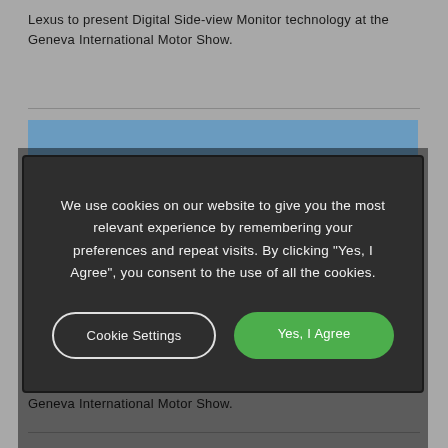Lexus to present Digital Side-view Monitor technology at the Geneva International Motor Show.
[Figure (photo): Partial view of a car or outdoor scene, partially obscured by cookie consent modal overlay]
We use cookies on our website to give you the most relevant experience by remembering your preferences and repeat visits. By clicking "Yes, I Agree", you consent to the use of all the cookies.
Cookie Settings
Yes, I Agree
2020 Geneva International Motor Show
Lexus to present Digital Side-view Monitor technology at the Geneva International Motor Show.